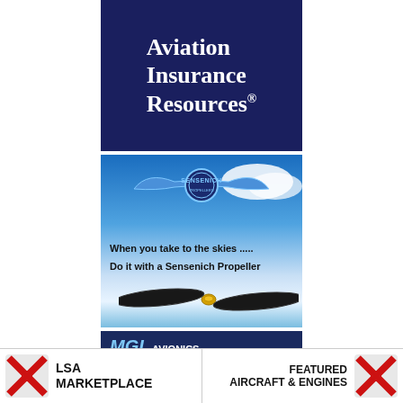[Figure (logo): Aviation Insurance Resources logo - dark navy blue background with white serif text reading Aviation Insurance Resources with registered trademark symbol]
[Figure (illustration): Sensenich Propellers advertisement - blue sky with clouds background, Sensenich winged logo at top, text 'When you take to the skies .....' and 'Do it with a Sensenich Propeller', propeller image at bottom]
[Figure (screenshot): MGL Avionics advertisement - dark blue background showing MGL Avionics logo in light blue italic, text 'iEFIS Touchscreen', instrument display screen at bottom]
[Figure (logo): LSA Marketplace logo with red X cross icon on left, bold text LSA MARKETPLACE]
[Figure (logo): Featured Aircraft & Engines logo with red X cross icon on right, bold text FEATURED AIRCRAFT & ENGINES]